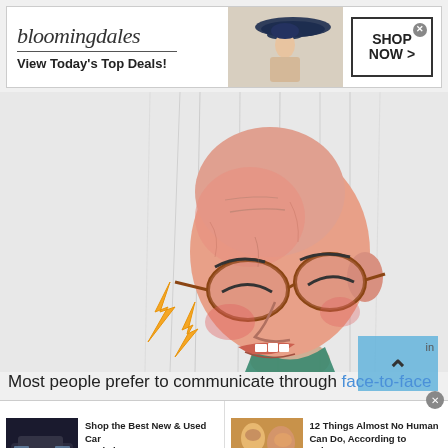[Figure (screenshot): Bloomingdale's advertisement banner with logo, 'View Today's Top Deals!' tagline, model in sun hat, and 'SHOP NOW >' button]
[Figure (illustration): Cartoon/illustration of an elderly bald man with glasses grimacing in pain, with lightning bolt symbols near his jaw/neck area, painted art style on light gray background]
Most people prefer to communicate through face-to-face
[Figure (screenshot): Bottom ad bar with two advertisements: 'Shop the Best New & Used Car Deals in Your Area? Ad by CarDealsnear You' with car image, and '12 Things Almost No Human Can Do, According to Science! Ad by RilyNews' with women image]